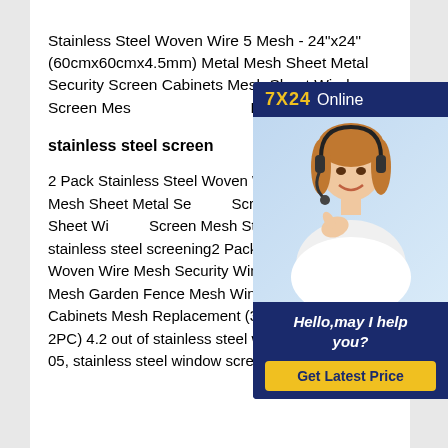Stainless Steel Woven Wire 5 Mesh - 24"x24"(60cmx60cmx4.5mm) Metal Mesh Sheet Metal Security Screen Cabinets Mesh Sheet Window Screen Mesh Stainless Steel Fine
stainless steel screen
2 Pack Stainless Steel Woven Wire Mesh Metal Mesh Sheet Metal Security Screen Cabinets Mesh Sheet Window Screen Mesh Stainless Steel Fine stainless steel screening2 Pack Stainless Steel Woven Wire Mesh Security Window Screening Mesh Garden Fence Mesh Window Screens Net Cabinets Mesh Replacement (300mmX300mm-2PC) 4.2 out of stainless steel window screenAug 05, stainless steel window screen R & G
[Figure (other): Chat widget overlay showing '7X24 Online' header in dark blue with yellow text, a photo of a woman with a headset smiling, and a dark blue panel with italic text 'Hello,may I help you?' and a yellow 'Get Latest Price' button.]